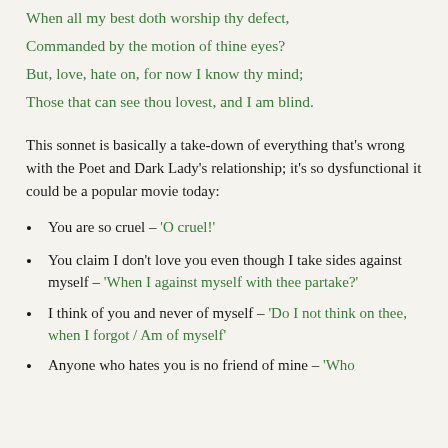When all my best doth worship thy defect,
Commanded by the motion of thine eyes?
But, love, hate on, for now I know thy mind;
Those that can see thou lovest, and I am blind.
This sonnet is basically a take-down of everything that's wrong with the Poet and Dark Lady's relationship; it's so dysfunctional it could be a popular movie today:
You are so cruel – 'O cruel!'
You claim I don't love you even though I take sides against myself – 'When I against myself with thee partake?'
I think of you and never of myself – 'Do I not think on thee, when I forgot / Am of myself'
Anyone who hates you is no friend of mine – 'Who...